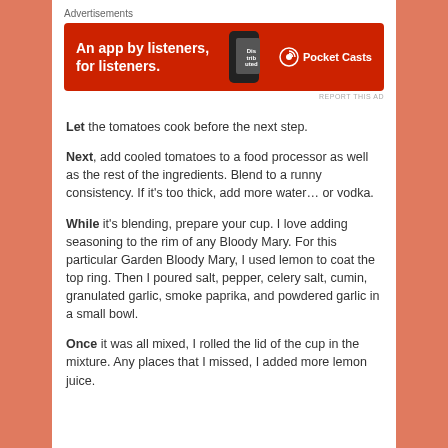[Figure (other): Advertisement banner for Pocket Casts app: red background with text 'An app by listeners, for listeners.' and a phone graphic and Pocket Casts logo]
Let the tomatoes cook before the next step.
Next, add cooled tomatoes to a food processor as well as the rest of the ingredients. Blend to a runny consistency. If it's too thick, add more water… or vodka.
While it's blending, prepare your cup. I love adding seasoning to the rim of any Bloody Mary. For this particular Garden Bloody Mary, I used lemon to coat the top ring. Then I poured salt, pepper, celery salt, cumin, granulated garlic, smoke paprika, and powdered garlic in a small bowl.
Once it was all mixed, I rolled the lid of the cup in the mixture. Any places that I missed, I added more lemon juice.